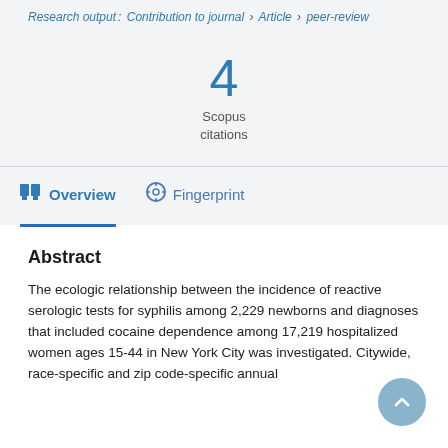Research output: Contribution to journal › Article › peer-review
4
Scopus citations
Overview
Fingerprint
Abstract
The ecologic relationship between the incidence of reactive serologic tests for syphilis among 2,229 newborns and diagnoses that included cocaine dependence among 17,219 hospitalized women ages 15-44 in New York City was investigated. Citywide, race-specific and zip code-specific annual